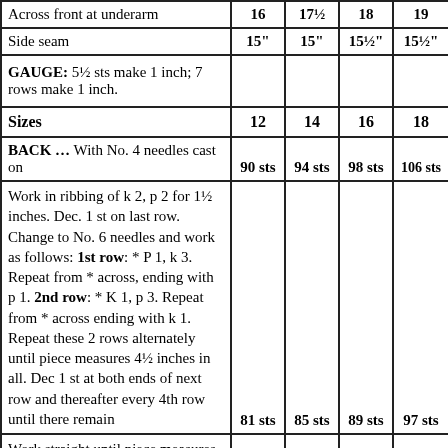|  | 16 | 17½ | 18 | 19 |
| --- | --- | --- | --- | --- |
| Across front at underarm | 16 | 17½ | 18 | 19 |
| Side seam | 15" | 15" | 15½" | 15½" |
| GAUGE: 5½ sts make 1 inch; 7 rows make 1 inch. |  |  |  |  |
| Sizes | 12 | 14 | 16 | 18 |
| BACK … With No. 4 needles cast on | 90 sts | 94 sts | 98 sts | 106 sts |
| Work in ribbing of k 2, p 2 for 1½ inches. Dec. 1 st on last row. Change to No. 6 needles and work as follows: 1st row: * P 1, k 3. Repeat from * across, ending with p 1. 2nd row: * K 1, p 3. Repeat from * across ending with k 1. Repeat these 2 rows alternately until piece measures 4½ inches in all. Dec 1 st at both ends of next row and thereafter every 4th row until there remain | 81 sts | 85 sts | 89 sts | 97 sts |
| Work straight until piece measures 8½ inches in all. Inc 1 st at both |  |  |  |  |